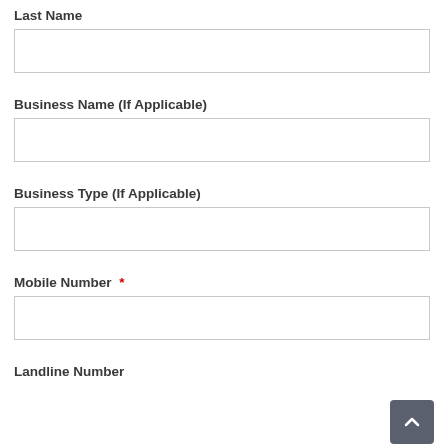Last Name
Business Name (If Applicable)
Business Type (If Applicable)
Mobile Number *
Landline Number